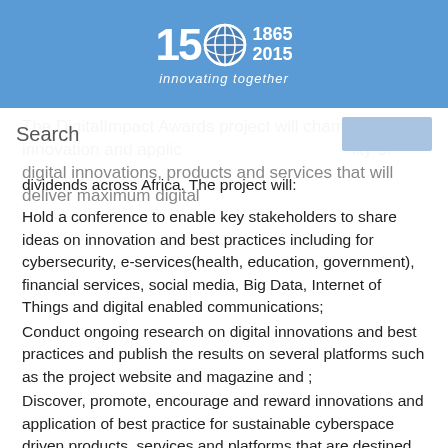[Figure (logo): ITU 150th anniversary logo: '150' with globe icon and years '1865 2015', tagline 'innovating together' on blue background]
The DigitalImpact Awards project will champion innovation and applicability of digital innovations, products and services that will deliver maximum digital dividends across Africa. The project will:
Hold a conference to enable key stakeholders to share ideas on innovation and best practices including for cybersecurity, e-services(health, education, government), financial services, social media, Big Data, Internet of Things and digital enabled communications;
Conduct ongoing research on digital innovations and best practices and publish the results on several platforms such as the project website and magazine and ;
Discover, promote, encourage and reward innovations and application of best practice for sustainable cyberspace driven products, services and platforms that are destined to deliver maximum digital dividends.